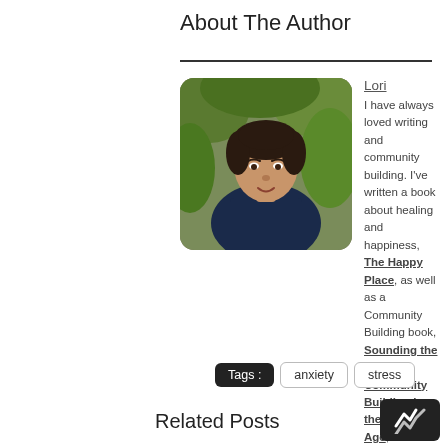About The Author
Lori
I have always loved writing and community building. I've written a book about healing and happiness, The Happy Place, as well as a Community Building book, Sounding the Drum: Community Building in the Digital Age,both available at any Amazon store. I've been through life changes that I thought were the end of my world, but I'm still here. You never know what will happen next. Isn't that what makes life interesting?
Tags : anxiety stress
Related Posts